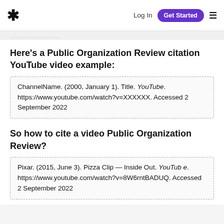* Log In Get Started ≡
Here's a Public Organization Review citation YouTube video example:
ChannelName. (2000, January 1). Title. YouTube. https://www.youtube.com/watch?v=XXXXXX. Accessed 2 September 2022
So how to cite a video Public Organization Review?
Pixar. (2015, June 3). Pizza Clip — Inside Out. YouTube. https://www.youtube.com/watch?v=8W6rntBADUQ. Accessed 2 September 2022